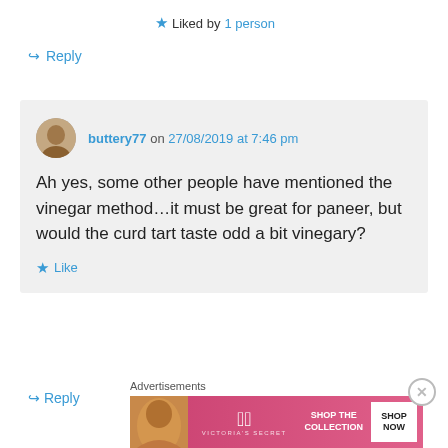★ Liked by 1 person
↪ Reply
buttery77 on 27/08/2019 at 7:46 pm
Ah yes, some other people have mentioned the vinegar method...it must be great for paneer, but would the curd tart taste odd a bit vinegary?
★ Like
↪ Reply
Advertisements
[Figure (other): Victoria's Secret advertisement banner with model photo, VS logo, 'SHOP THE COLLECTION' text, and 'SHOP NOW' button]